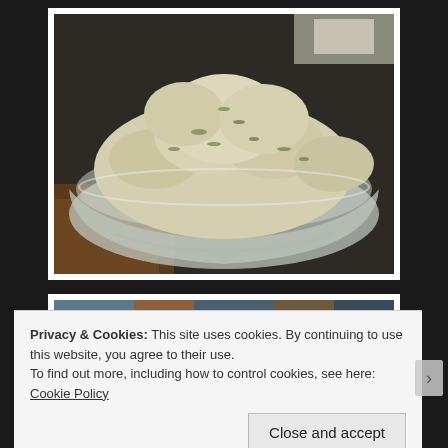[Figure (photo): A clear plastic bowl filled with mashed potatoes or potato salad with green herbs mixed in, sitting on a dark surface]
[Figure (photo): Partial view of another food photo, partially obscured by the cookie consent banner]
Privacy & Cookies: This site uses cookies. By continuing to use this website, you agree to their use.
To find out more, including how to control cookies, see here: Cookie Policy
Close and accept